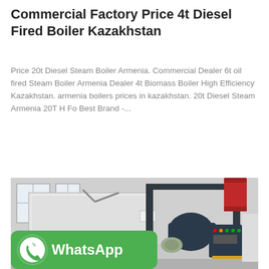Commercial Factory Price 4t Diesel Fired Boiler Kazakhstan
Price 20t Diesel Steam Boiler Armenia. Commercial Dealer 6t oil fired Steam Boiler Armenia Dealer 4t Biomass Boiler High Efficiency Kazakhstan. armenia boilers prices in kazakhstan. 20t Diesel Steam Armenia 20T H Fo Best Brand -...
Get Price
[Figure (photo): Industrial diesel fired steam boiler in a factory setting. Shows a large white rectangular boiler unit with a dark blue burner assembly mounted on the front right side. A red cylindrical component (exhaust stack) is visible at the top. The factory interior has windows and piping visible in the background. A green WhatsApp badge is overlaid on the lower left of the image.]